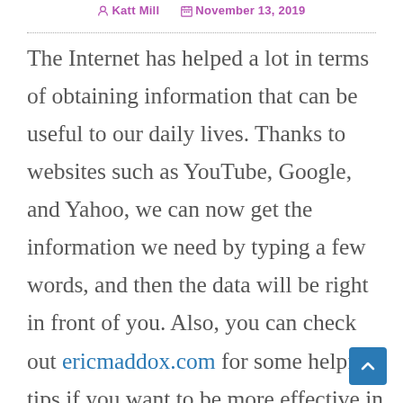Katt Mill   November 13, 2019
The Internet has helped a lot in terms of obtaining information that can be useful to our daily lives. Thanks to websites such as YouTube, Google, and Yahoo, we can now get the information we need by typing a few words, and then the data will be right in front of you. Also, you can check out ericmaddox.com for some helpful tips if you want to be more effective in listening to the information...